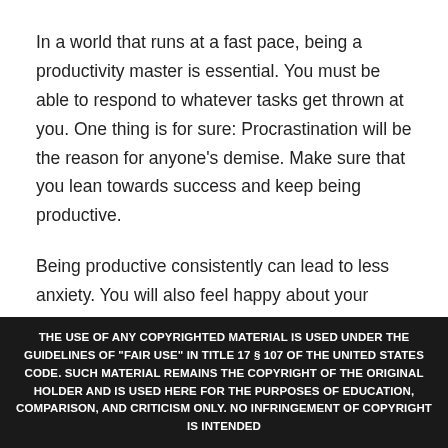In a world that runs at a fast pace, being a productivity master is essential. You must be able to respond to whatever tasks get thrown at you. One thing is for sure: Procrastination will be the reason for anyone's demise. Make sure that you lean towards success and keep being productive.
Being productive consistently can lead to less anxiety. You will also feel happy about your output in the long run. After all, being productive will always result in something positive in your life and
THE USE OF ANY COPYRIGHTED MATERIAL IS USED UNDER THE GUIDELINES OF "FAIR USE" IN TITLE 17 § 107 OF THE UNITED STATES CODE. SUCH MATERIAL REMAINS THE COPYRIGHT OF THE ORIGINAL HOLDER AND IS USED HERE FOR THE PURPOSES OF EDUCATION, COMPARISON, AND CRITICISM ONLY. NO INFRINGEMENT OF COPYRIGHT IS INTENDED